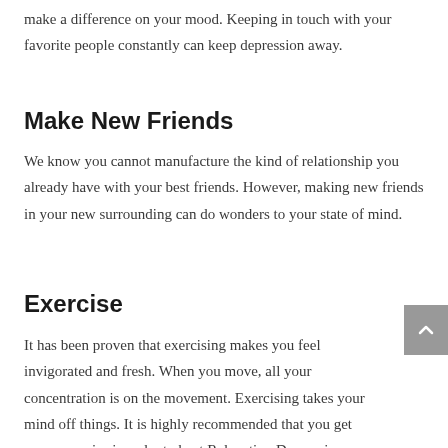make a difference on your mood. Keeping in touch with your favorite people constantly can keep depression away.
Make New Friends
We know you cannot manufacture the kind of relationship you already have with your best friends. However, making new friends in your new surrounding can do wonders to your state of mind.
Exercise
It has been proven that exercising makes you feel invigorated and fresh. When you move, all your concentration is on the movement. Exercising takes your mind off things. It is highly recommended that you get some exercise in order to beat Relocation Depression.